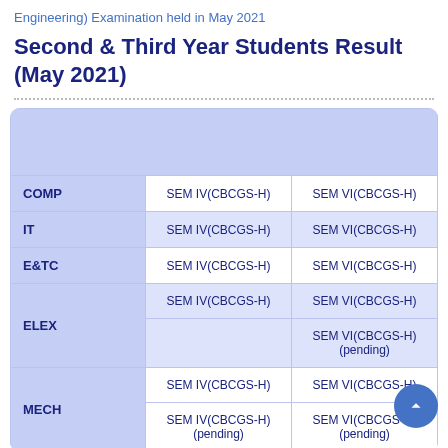Engineering) Examination held in May 2021
Second & Third Year Students Result (May 2021)
|  | SEM IV(CBCGS-H) | SEM VI(CBCGS-H) |
| --- | --- | --- |
| COMP | SEM IV(CBCGS-H) | SEM VI(CBCGS-H) |
| IT | SEM IV(CBCGS-H) | SEM VI(CBCGS-H) |
| E&TC | SEM IV(CBCGS-H) | SEM VI(CBCGS-H) |
| ELEX | SEM IV(CBCGS-H) | SEM VI(CBCGS-H) |
| ELEX (pending) |  | SEM VI(CBCGS-H) (pending) |
| MECH | SEM IV(CBCGS-H) | SEM VI(CBCGS-H) |
| MECH (pending) | SEM IV(CBCGS-H) (pending) | SEM VI(CBCGS-H) (pending) |